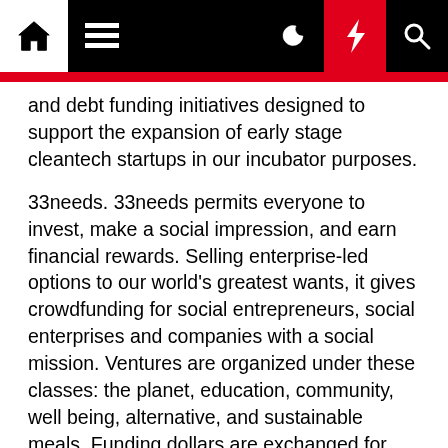[Navigation bar with home icon, menu icon, dark mode toggle, lightning bolt (red), and search icon]
and debt funding initiatives designed to support the expansion of early stage cleantech startups in our incubator purposes.
33needs. 33needs permits everyone to invest, make a social impression, and earn financial rewards. Selling enterprise-led options to our world's greatest wants, it gives crowdfunding for social entrepreneurs, social enterprises and companies with a social mission. Ventures are organized under these classes: the planet, education, community, well being, alternative, and sustainable meals. Funding dollars are exchanged for rewards provided by crowdfunded firms, in addition to factors to redeem for particular affords.
The business and finance curriculum at GW Regulation is both rich and numerous, including both